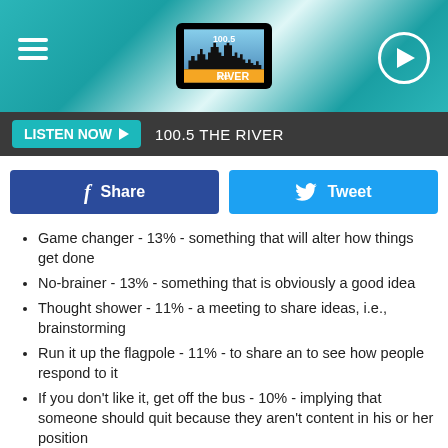[Figure (logo): 100.5 The River radio station logo with city skyline silhouette on orange/yellow background, teal gradient banner header with hamburger menu and play button]
[Figure (screenshot): Listen Now bar with teal button and station name '100.5 THE RIVER' on dark background]
[Figure (screenshot): Facebook Share button (dark blue) and Twitter Tweet button (light blue)]
Game changer - 13% - something that will alter how things get done
No-brainer - 13% - something that is obviously a good idea
Thought shower - 11% - a meeting to share ideas, i.e., brainstorming
Run it up the flagpole - 11% - to share an to see how people respond to it
If you don't like it, get off the bus - 10% - implying that someone should quit because they aren't content in his or her position
Mission statement - 10% - a company's goals
Pick it up and run with it  - 10% - to continue a project started by someone else who is unable to complete it